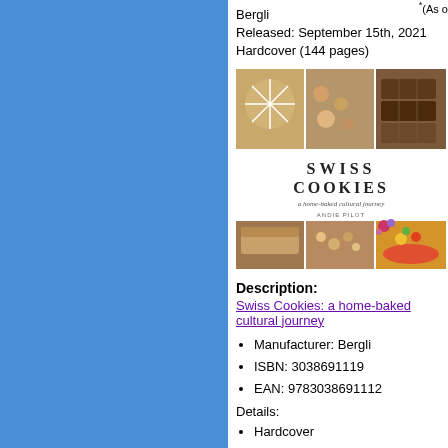Bergli
Released: September 15th, 2021
Hardcover (144 pages)
[Figure (photo): Book cover of Swiss Cookies: a home-baked cultural journey by Andie Pilot, showing food photography collage with cookies and Swiss treats]
Description:
Swiss Cookies: a home-baked cultural journey
Manufacturer: Bergli
ISBN: 3038691119
EAN: 9783038691112
Details:
Hardcover
Number of Pages: 144
Author: Andie Pilot
Publication Date: September 15th, 2021
Release Date: September 15th, 2021